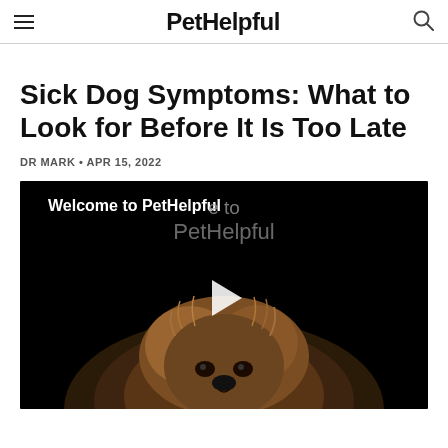PetHelpful
Sick Dog Symptoms: What to Look for Before It Is Too Late
DR MARK • APR 15, 2022
[Figure (screenshot): Video thumbnail showing a Yorkshire Terrier dog face on a black background with 'Welcome to PetHelpful' text overlay and a play button]